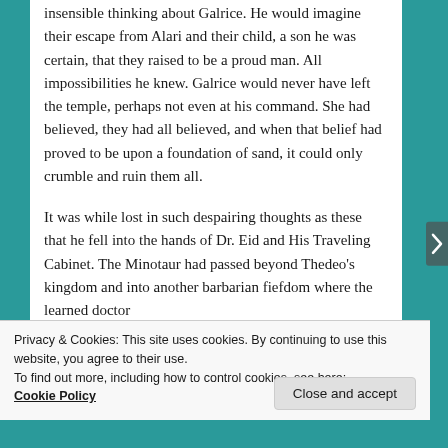insensible thinking about Galrice. He would imagine their escape from Alari and their child, a son he was certain, that they raised to be a proud man. All impossibilities he knew. Galrice would never have left the temple, perhaps not even at his command. She had believed, they had all believed, and when that belief had proved to be upon a foundation of sand, it could only crumble and ruin them all.

It was while lost in such despairing thoughts as these that he fell into the hands of Dr. Eid and His Traveling Cabinet. The Minotaur had passed beyond Thedeo's kingdom and into another barbarian fiefdom where the learned doctor
Privacy & Cookies: This site uses cookies. By continuing to use this website, you agree to their use.
To find out more, including how to control cookies, see here: Cookie Policy
Close and accept